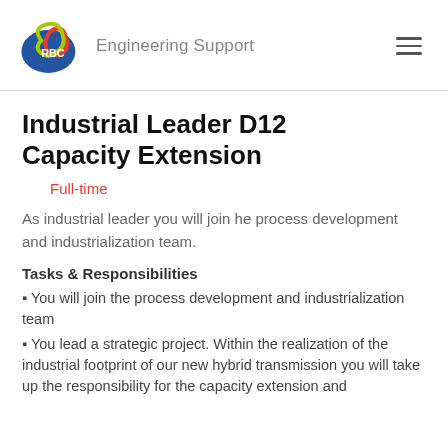RBC Engineering Support
Industrial Leader D12 Capacity Extension
Full-time
As industrial leader you will join he process development and industrialization team.
Tasks & Responsibilities
You will join the process development and industrialization team
You lead a strategic project. Within the realization of the industrial footprint of our new hybrid transmission you will take up the responsibility for the capacity extension and